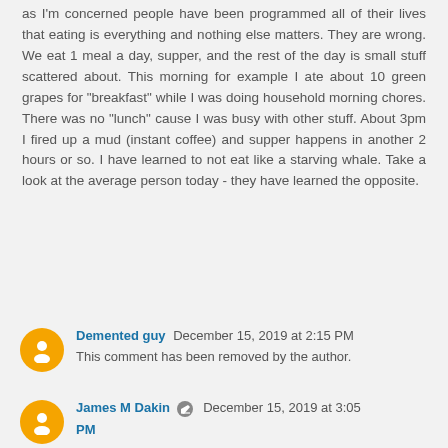as I'm concerned people have been programmed all of their lives that eating is everything and nothing else matters. They are wrong. We eat 1 meal a day, supper, and the rest of the day is small stuff scattered about. This morning for example I ate about 10 green grapes for "breakfast" while I was doing household morning chores. There was no "lunch" cause I was busy with other stuff. About 3pm I fired up a mud (instant coffee) and supper happens in another 2 hours or so. I have learned to not eat like a starving whale. Take a look at the average person today - they have learned the opposite.
Demented guy December 15, 2019 at 2:15 PM
This comment has been removed by the author.
James M Dakin December 15, 2019 at 3:05 PM